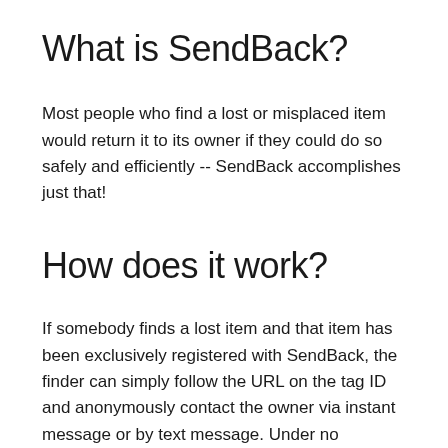What is SendBack?
Most people who find a lost or misplaced item would return it to its owner if they could do so safely and efficiently -- SendBack accomplishes just that!
How does it work?
If somebody finds a lost item and that item has been exclusively registered with SendBack, the finder can simply follow the URL on the tag ID and anonymously contact the owner via instant message or by text message. Under no circumstances will the owner or the finder's